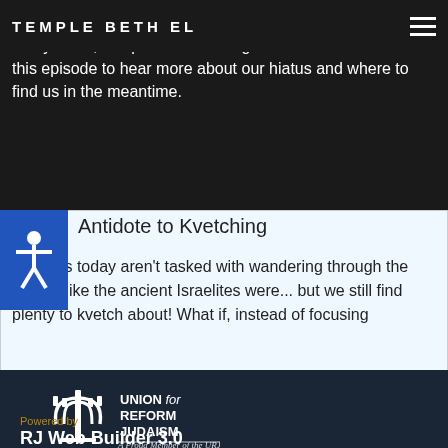TEMPLE BETHEL
After four years of bringing you a new episode nearly every week, this podcast is taking a little break. Listen to this episode to hear more about our hiatus and where to find us in the meantime.
Antidote to Kvetching
Most of us today aren't tasked with wandering through the desert, like the ancient Israelites were... but we still find plenty to kvetch about! What if, instead of focusing
[Figure (logo): Union for Reform Judaism logo with menorah icon and text 'UNION for REFORM JUDAISM'. Below: 'A Proud Member of the URJ']
Powered by
RJ Web Builder 3.0